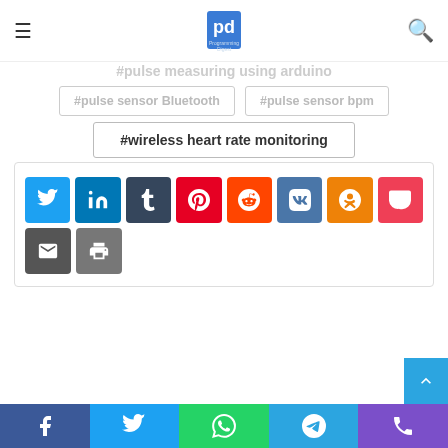Programming Digest logo with hamburger menu and search icon
#programming digest
#pulse measuring using arduino
#pulse sensor Bluetooth
#pulse sensor bpm
#wireless heart rate monitoring
[Figure (infographic): Social share buttons: Twitter, LinkedIn, Tumblr, Pinterest, Reddit, VK, Odnoklassniki, Pocket, Email, Print]
Facebook, Twitter, WhatsApp, Telegram, Phone share bar at bottom